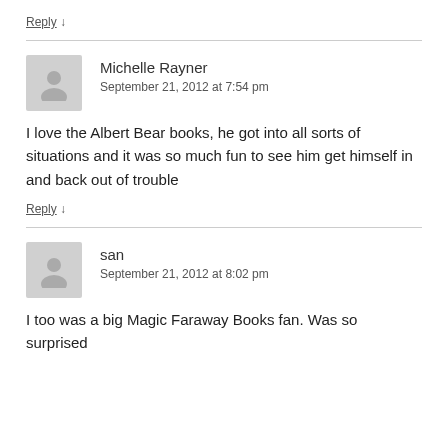Reply ↓
Michelle Rayner
September 21, 2012 at 7:54 pm
I love the Albert Bear books, he got into all sorts of situations and it was so much fun to see him get himself in and back out of trouble
Reply ↓
san
September 21, 2012 at 8:02 pm
I too was a big Magic Faraway Books fan. Was so surprised